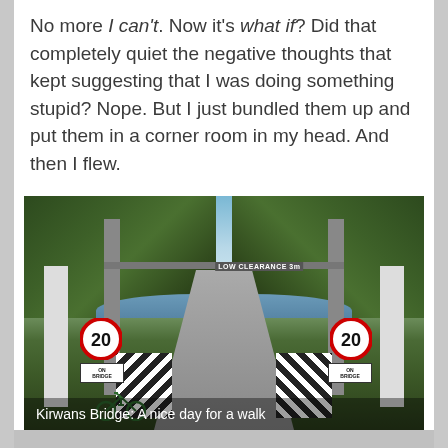No more I can't. Now it's what if? Did that completely quiet the negative thoughts that kept suggesting that I was doing something stupid? Nope. But I just bundled them up and put them in a corner room in my head. And then I flew.
[Figure (photo): A bicycle leaning against a fence at the entrance of Kirwans Bridge, an old narrow timber bridge over a river. Speed limit signs show 20 km/h on bridge on both sides. A horizontal clearance bar reads 'LOW CLEARANCE 3m'. Trees line both sides of the bridge.]
Kirwans Bridge: A nice day for a walk